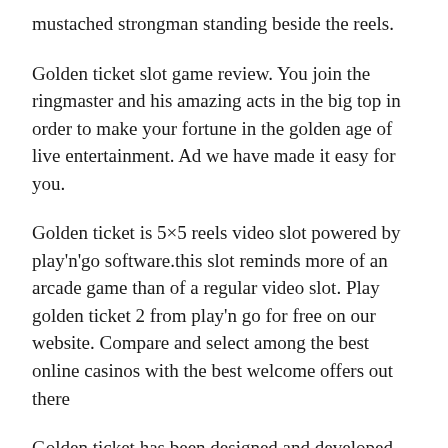mustached strongman standing beside the reels.
Golden ticket slot game review. You join the ringmaster and his amazing acts in the big top in order to make your fortune in the golden age of live entertainment. Ad we have made it easy for you.
Golden ticket is 5×5 reels video slot powered by play'n'go software.this slot reminds more of an arcade game than of a regular video slot. Play golden ticket 2 from play'n go for free on our website. Compare and select among the best online casinos with the best welcome offers out there
Golden ticket has been designed and developed by play'n go. Golden ticket 2 is a new cluster pays slot by play'n go which plays out in a vintage carnival theme. It